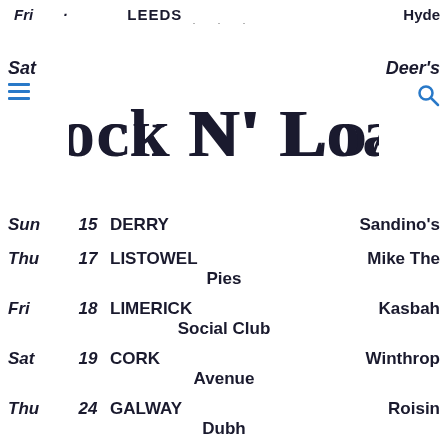Fri  ·  ·  LEEDS  ·  ·  ·  Hyde
[Figure (logo): Rock N' Load band/festival logo in ornate dark navy serif lettering, with Sat label on left, hamburger menu icon, Deer's text and search icon on right]
| Day | Date | City | Venue |
| --- | --- | --- | --- |
| Sun | 15 | DERRY | Sandino's |
| Thu | 17 | LISTOWEL | Mike The Pies |
| Fri | 18 | LIMERICK | Kasbah Social Club |
| Sat | 19 | CORK | Winthrop Avenue |
| Thu | 24 | GALWAY | Roisin Dubh |
| Fri | 25 | DUBLIN | Button Factory |